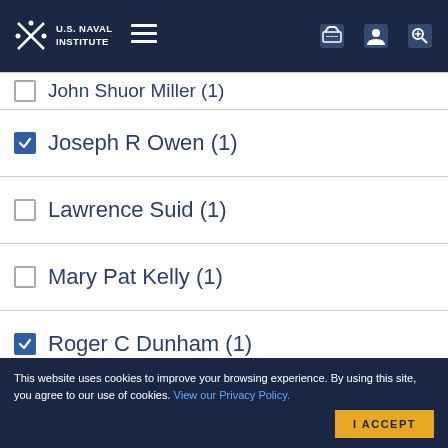U.S. Naval Institute
John Shuor Miller (1) [partially visible, truncated]
Joseph R Owen (1) [checked]
Lawrence Suid (1)
Mary Pat Kelly (1)
Roger C Dunham (1) [checked]
Suzanne J Stark (1)
This website uses cookies to improve your browsing experience. By using this site, you agree to our use of cookies. View our Privacy Policy.